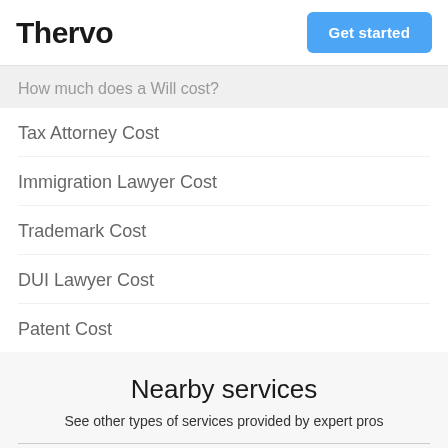Thervo | Get started
How much does a Will cost?
Tax Attorney Cost
Immigration Lawyer Cost
Trademark Cost
DUI Lawyer Cost
Patent Cost
Nearby services
See other types of services provided by expert pros
Attorneys Near Me